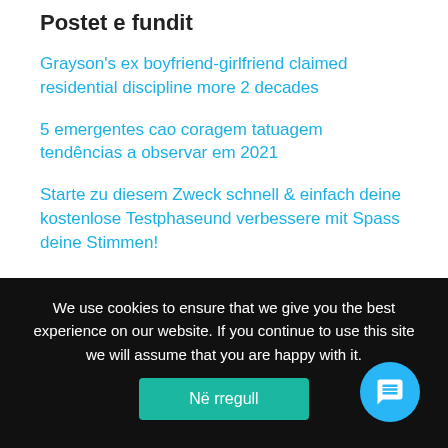Postet e fundit
Grayson's ex boyfriend-girlfriend claimed residential discipline more 2 decades
5 emergentes cao coragem tatuagem tendências a observar em 2021
Starte zu diesem Zweck schnell & einfach deine kostenlose Testphaseund verbessere mit Spass deine Stimmen!
Lass mich daruber erzahlen Sex durch Ein Stegreifaufgabe vom Freund – Planet-Lieb
Lass mich daruber erzahlen Erstplatzierten...
We use cookies to ensure that we give you the best experience on our website. If you continue to use this site we will assume that you are happy with it.
Në rregull